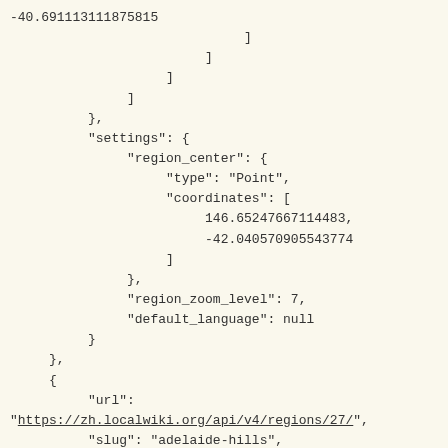-40.691113111875815
                              ]
                         ]
                    ]
               ]
          },
          "settings": {
               "region_center": {
                    "type": "Point",
                    "coordinates": [
                         146.65247667114483,
                         -42.040570905543774
                    ]
               },
               "region_zoom_level": 7,
               "default_language": null
          }
     },
     {
          "url":
"https://zh.localwiki.org/api/v4/regions/27/",
          "slug": "adelaide-hills",